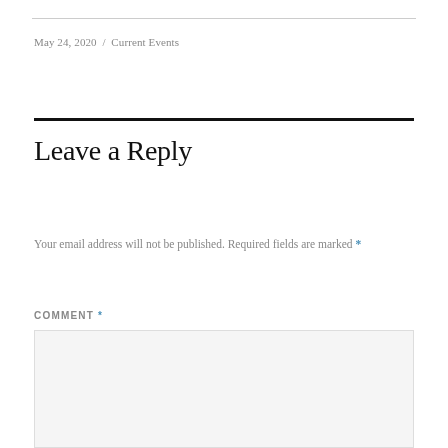May 24, 2020 / Current Events
Leave a Reply
Your email address will not be published. Required fields are marked *
COMMENT *
[Figure (other): Empty comment text area input box with light gray background]